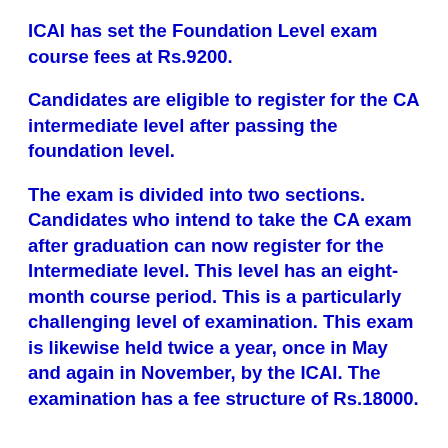ICAI has set the Foundation Level exam course fees at Rs.9200.
Candidates are eligible to register for the CA intermediate level after passing the foundation level.
The exam is divided into two sections. Candidates who intend to take the CA exam after graduation can now register for the Intermediate level. This level has an eight-month course period. This is a particularly challenging level of examination. This exam is likewise held twice a year, once in May and again in November, by the ICAI. The examination has a fee structure of Rs.18000.